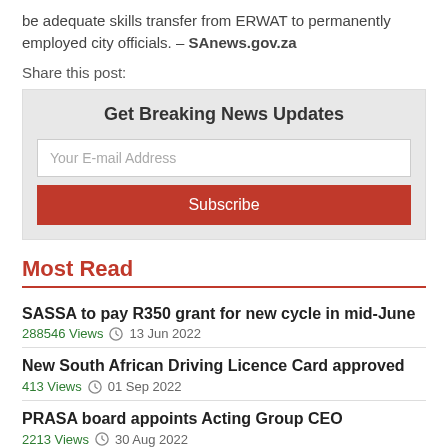be adequate skills transfer from ERWAT to permanently employed city officials. – SAnews.gov.za
Share this post:
Get Breaking News Updates
Your E-mail Address
Subscribe
Most Read
SASSA to pay R350 grant for new cycle in mid-June
288546 Views  13 Jun 2022
New South African Driving Licence Card approved
413 Views  01 Sep 2022
PRASA board appoints Acting Group CEO
2213 Views  30 Aug 2022